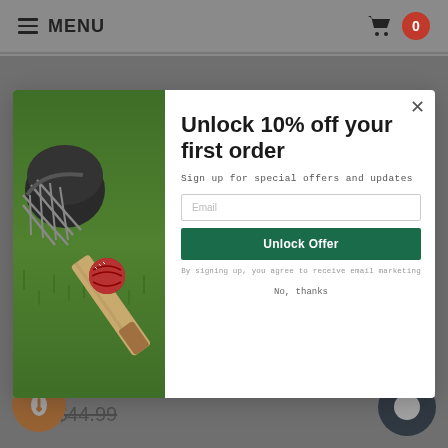MENU | 0
[Figure (screenshot): E-commerce website screenshot showing a popup modal for 10% off first order on a cricket sports equipment store. Background shows grey page with prices $40.49 and $44.99. Modal has left panel with cricket equipment photo (helmet, ball, bat on grass) and right panel with signup form.]
Unlock 10% off your first order
Sign up for special offers and updates
Email
Unlock Offer
By signing up, you agree to receive email marketing
No, thanks
$40.49
$44.99